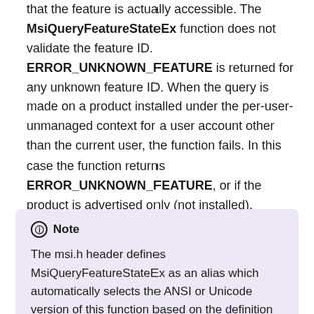that the feature is actually accessible. The MsiQueryFeatureStateEx function does not validate the feature ID. ERROR_UNKNOWN_FEATURE is returned for any unknown feature ID. When the query is made on a product installed under the per-user-unmanaged context for a user account other than the current user, the function fails. In this case the function returns ERROR_UNKNOWN_FEATURE, or if the product is advertised only (not installed), ERROR_UNKNOWN_PRODUCT is returned.
Note – The msi.h header defines MsiQueryFeatureStateEx as an alias which automatically selects the ANSI or Unicode version of this function based on the definition of the UNICODE preprocessor constant. Mixing usage of the encoding-neutral alias with code